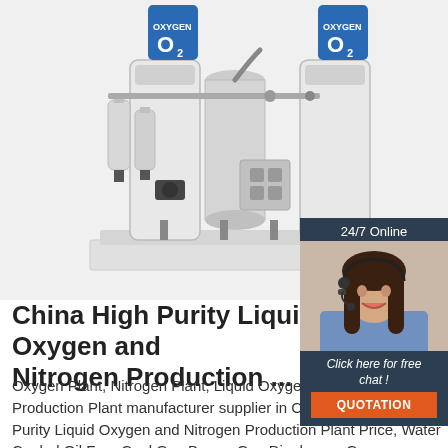[Figure (photo): Industrial oxygen/nitrogen production plant equipment — white cylindrical tanks labeled OXYGEN O2, with pipes, valves, filters and compressor components on a white base]
[Figure (photo): Chat widget with 24/7 Online label, photo of female customer service agent with headset, 'Click here for free chat!' text, and orange QUOTATION button]
China High Purity Liquid Oxygen and Nitrogen Production ...
Oxygen Plant, Nitrogen Plant, Liquid Oxygen and Nitrogen Production Plant manufacturer supplier in China, offering High Purity Liquid Oxygen and Nitrogen Production Plant Price, Water Cooled Oil Free Cool Gas Burner Gas Diaphragm Compressor